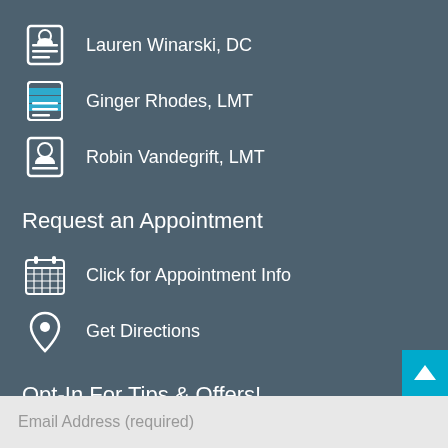Lauren Winarski, DC
Ginger Rhodes, LMT
Robin Vandegrift, LMT
Request an Appointment
Click for Appointment Info
Get Directions
Opt-In For Tips & Offers!
Email Address (required)